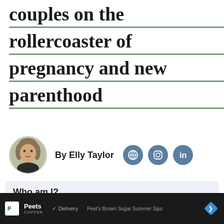couples on the rollercoaster of pregnancy and new parenthood
By Elly Taylor
Who am I?
Around 25 years ago, I thought my husband and I were ready for